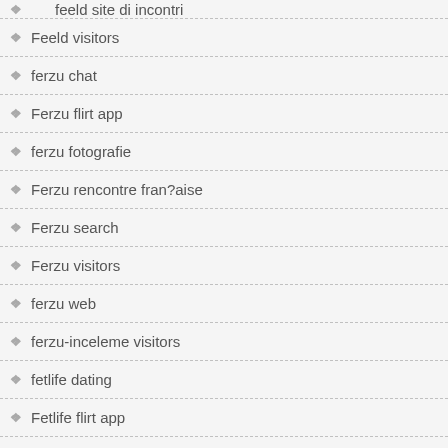feeld site di incontri
Feeld visitors
ferzu chat
Ferzu flirt app
ferzu fotografie
Ferzu rencontre fran?aise
Ferzu search
Ferzu visitors
ferzu web
ferzu-inceleme visitors
fetlife dating
Fetlife flirt app